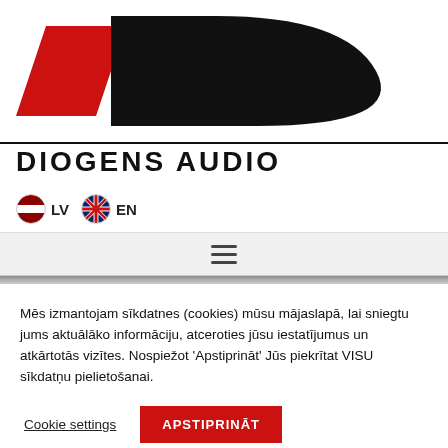[Figure (logo): Diogens Audio logo: stylized red parallelogram and black bold D letter, above horizontal line, with text DIOGENS AUDIO below]
[Figure (infographic): Language selector with Latvian flag (LV) and UK flag (EN)]
[Figure (infographic): Hamburger menu icon (three horizontal lines) on light gray background]
Mēs izmantojam sīkdatnes (cookies) mūsu mājaslapā, lai sniegtu jums aktuālāko informāciju, atceroties jūsu iestatījumus un atkārtotās vizītes. Nospiežot 'Apstiprināt' Jūs piekrītat VISU sīkdatņu pielietošanai.
Cookie settings  APSTIPRINĀT